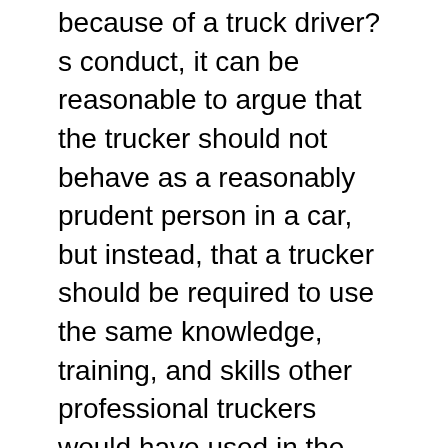because of a truck driver?s conduct, it can be reasonable to argue that the trucker should not behave as a reasonably prudent person in a car, but instead, that a trucker should be required to use the same knowledge, training, and skills other professional truckers would have used in the same or similar circumstances.
To put the concept succinctly, truck driver negligence occurs when a trucker fails to use the knowledge, skills, training, and experience they should have as a professional driver,